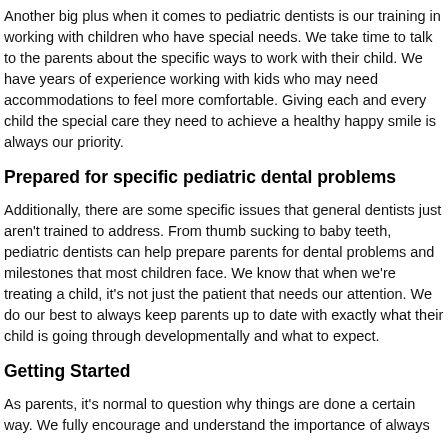Another big plus when it comes to pediatric dentists is our training in working with children who have special needs. We take time to talk to the parents about the specific ways to work with their child. We have years of experience working with kids who may need accommodations to feel more comfortable. Giving each and every child the special care they need to achieve a healthy happy smile is always our priority.
Prepared for specific pediatric dental problems
Additionally, there are some specific issues that general dentists just aren't trained to address. From thumb sucking to baby teeth, pediatric dentists can help prepare parents for dental problems and milestones that most children face. We know that when we're treating a child, it's not just the patient that needs our attention. We do our best to always keep parents up to date with exactly what their child is going through developmentally and what to expect.
Getting Started
As parents, it's normal to question why things are done a certain way. We fully encourage and understand the importance of always...